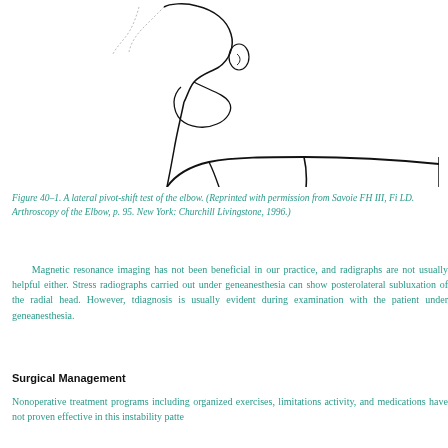[Figure (illustration): Line drawing illustration of a lateral pivot-shift test of the elbow, showing a patient's arm and elbow joint from a lateral perspective with the examiner's hand applying stress.]
Figure 40–1. A lateral pivot-shift test of the elbow. (Reprinted with permission from Savoie FH III, Fi LD. Arthroscopy of the Elbow, p. 95. New York: Churchill Livingstone, 1996.)
Magnetic resonance imaging has not been beneficial in our practice, and radi graphs are not usually helpful either. Stress radiographs carried out under gene anesthesia can show posterolateral subluxation of the radial head. However, t diagnosis is usually evident during examination with the patient under gene anesthesia.
Surgical Management
Nonoperative treatment programs including organized exercises, limitations activity, and medications have not proven effective in this instability patte